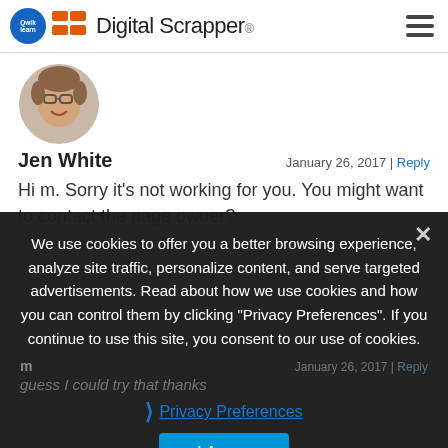Digital Scrapper
[Figure (photo): Circular avatar photo of a woman with glasses and curly hair, smiling]
Jen White
January 26, 2017 | Reply
Hi m. Sorry it's not working for you. You might want to contact the page owner?
We use cookies to offer you a better browsing experience, analyze site traffic, personalize content, and serve targeted advertisements. Read about how we use cookies and how you can control them by clicking "Privacy Preferences". If you continue to use this site, you consent to our use of cookies.
m
January 26, 2017 | Reply
guess I could try that thanks
Privacy Preferences
I Agree